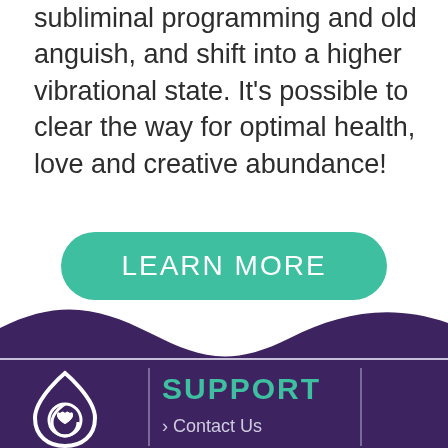subliminal programming and old anguish, and shift into a higher vibrational state. It's possible to clear the way for optimal health, love and creative abundance!
[Figure (other): Green rounded button with text 'LEARN MORE' in white uppercase letters]
[Figure (illustration): Dark purple wave shape transitioning to footer background]
[Figure (logo): White swirl/teardrop logo with heart inside on dark purple background]
SUPPORT
Contact Us